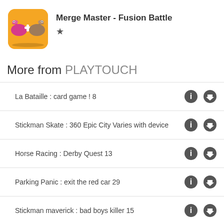[Figure (illustration): App icon for Merge Master - Fusion Battle showing cartoon dinosaurs on orange background]
Merge Master - Fusion Battle
More from PLAYTOUCH
La Bataille : card game ! 8
Stickman Skate : 360 Epic City Varies with device
Horse Racing : Derby Quest 13
Parking Panic : exit the red car 29
Stickman maverick : bad boys killer 15